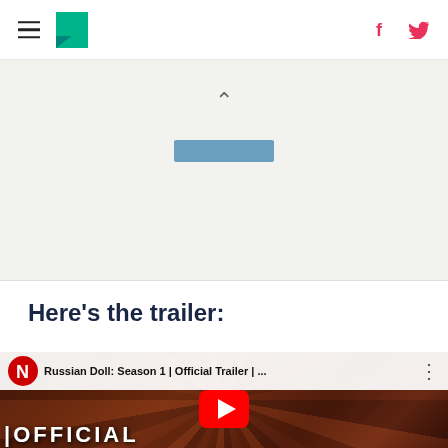HuffPost navigation header with hamburger menu, logo, Facebook and Twitter icons
[Figure (screenshot): Chevron up caret icon above a blurred/collapsed advertisement banner in a light grey section]
Here’s the trailer:
[Figure (screenshot): YouTube embedded video thumbnail for Russian Doll: Season 1 | Official Trailer | ... showing Netflix logo, video title, three-dot menu, red play button over collage of curly-haired woman's faces, with OFFICIAL text at bottom]